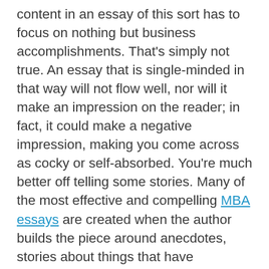content in an essay of this sort has to focus on nothing but business accomplishments. That's simply not true. An essay that is single-minded in that way will not flow well, nor will it make an impression on the reader; in fact, it could make a negative impression, making you come across as cocky or self-absorbed. You're much better off telling some stories. Many of the most effective and compelling MBA essays are created when the author builds the piece around anecdotes, stories about things that have happened to you in the past. MBA essay prompts are ideal in this regard, as they often specifically ask you to describe a situation from your past. As you respond to prompts of this sort, remember that it's equally important to connect the story to you and explain why the story is important, telling, and applicable to your